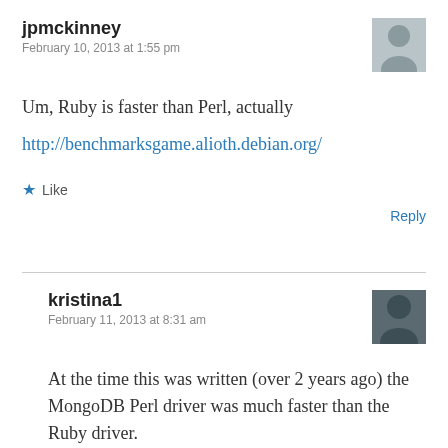jpmckinney
February 10, 2013 at 1:55 pm
Um, Ruby is faster than Perl, actually
http://benchmarksgame.alioth.debian.org/
Like
Reply
kristina1
February 11, 2013 at 8:31 am
At the time this was written (over 2 years ago) the MongoDB Perl driver was much faster than the Ruby driver.